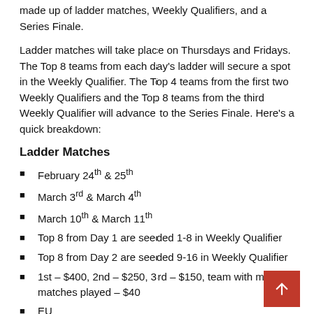made up of ladder matches, Weekly Qualifiers, and a Series Finale.
Ladder matches will take place on Thursdays and Fridays. The Top 8 teams from each day's ladder will secure a spot in the Weekly Qualifier. The Top 4 teams from the first two Weekly Qualifiers and the Top 8 teams from the third Weekly Qualifier will advance to the Series Finale. Here's a quick breakdown:
Ladder Matches
February 24th & 25th
March 3rd & March 4th
March 10th & March 11th
Top 8 from Day 1 are seeded 1-8 in Weekly Qualifier
Top 8 from Day 2 are seeded 9-16 in Weekly Qualifier
1st – $400, 2nd – $250, 3rd – $150, team with most matches played – $40
EU
Begins at 3PM GMT